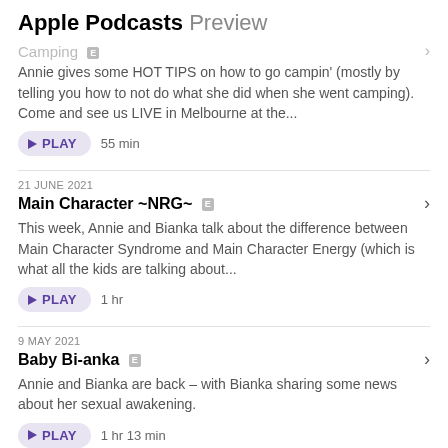Apple Podcasts Preview
Camping
Annie gives some HOT TIPS on how to go campin' (mostly by telling you how to not do what she did when she went camping). Come and see us LIVE in Melbourne at the...
PLAY 55 min
21 JUNE 2021
Main Character ~NRG~
This week, Annie and Bianka talk about the difference between Main Character Syndrome and Main Character Energy (which is what all the kids are talking about...
PLAY 1 hr
9 MAY 2021
Baby Bi-anka
Annie and Bianka are back – with Bianka sharing some news about her sexual awakening.
PLAY 1 hr 13 min
19 FEB 2021